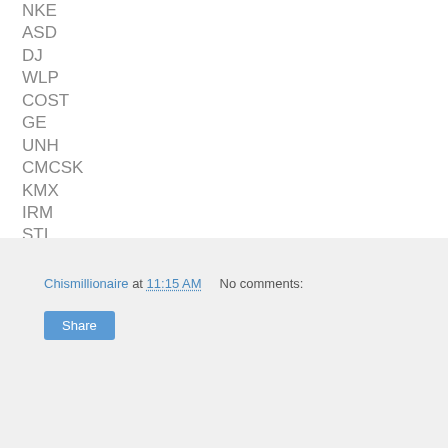NKE
ASD
DJ
WLP
COST
GE
UNH
CMCSK
KMX
IRM
STI
LOW
WBC
BNP
etc etc etc....
Chismillionaire at 11:15 AM   No comments:   Share